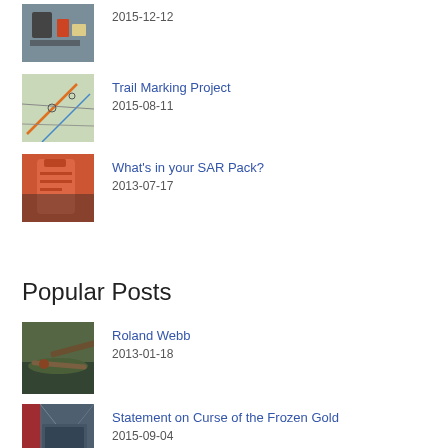[Figure (photo): Thumbnail photo of items including tools/supplies]
2015-12-12
[Figure (photo): Thumbnail photo of a trail map]
Trail Marking Project
2015-08-11
[Figure (photo): Thumbnail photo of orange SAR pack]
What's in your SAR Pack?
2013-07-17
Popular Posts
[Figure (photo): Thumbnail photo of fallen tree in forest]
Roland Webb
2013-01-18
[Figure (photo): Thumbnail photo viewed through car window]
Statement on Curse of the Frozen Gold
2015-09-04